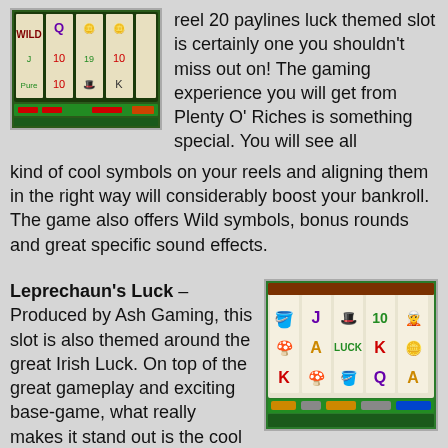[Figure (screenshot): Screenshot of Plenty O' Riches slot game showing reels with leprechaun-themed symbols]
reel 20 paylines luck themed slot is certainly one you shouldn’t miss out on! The gaming experience you will get from Plenty O’ Riches is something special. You will see all kind of cool symbols on your reels and aligning them in the right way will considerably boost your bankroll. The game also offers Wild symbols, bonus rounds and great specific sound effects.
Leprechaun’s Luck – Produced by Ash Gaming, this slot is also themed around the great Irish Luck. On top of the great gameplay and exciting base-game, what really makes it stand out is the cool bonus rounds you can end up playing, which are quite a treat. The rewards are more than decent and another great thing about
[Figure (screenshot): Screenshot of Leprechaun's Luck slot game showing reels with Irish-themed symbols including mushrooms, harps, and playing card symbols]